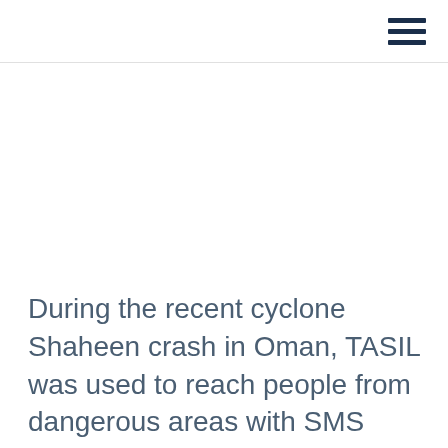During the recent cyclone Shaheen crash in Oman, TASIL was used to reach people from dangerous areas with SMS alerts. Read more about this real-time action for the higher cause